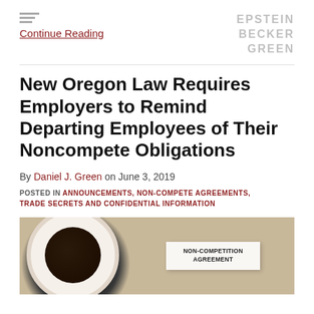Continue Reading
New Oregon Law Requires Employers to Remind Departing Employees of Their Noncompete Obligations
By Daniel J. Green on June 3, 2019
POSTED IN ANNOUNCEMENTS, NON-COMPETE AGREEMENTS, TRADE SECRETS AND CONFIDENTIAL INFORMATION
[Figure (photo): A cup of black coffee on a saucer beside a document titled NON-COMPETITION AGREEMENT on a wooden table background]